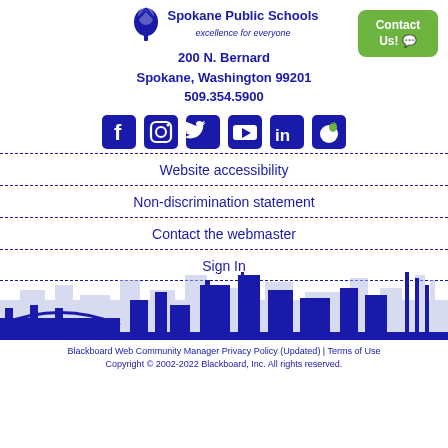[Figure (logo): Spokane Public Schools tree logo with text 'Spokane Public Schools excellence for everyone']
200 N. Bernard
Spokane, Washington 99201
509.354.5900
[Figure (infographic): Social media icons: Facebook, Instagram, Twitter, YouTube, LinkedIn, and Peachjar]
Website accessibility
Non-discrimination statement
Contact the webmaster
Sign In
[Figure (illustration): Spokane city skyline silhouette in blue]
Blackboard Web Community Manager Privacy Policy (Updated) | Terms of Use
Copyright © 2002-2022 Blackboard, Inc. All rights reserved.